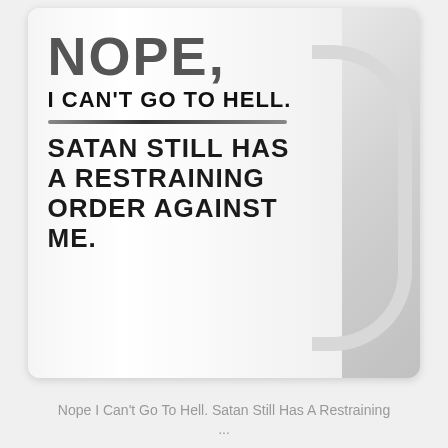[Figure (photo): A white ceramic coffee mug with humorous text printed on it. The mug reads: 'NOPE, I CAN'T GO TO HELL. SATAN STILL HAS A RESTRAINING ORDER AGAINST ME.' with a decorative divider line between the two phrases. The mug handle is visible on the right side.]
Nope I Can't Go To Hell. Satan Still Has A Restraining ...